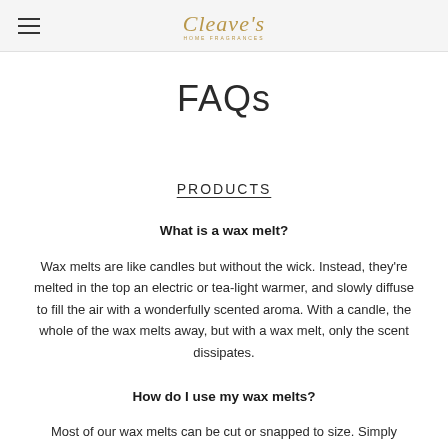Cleave's Home Fragrances
FAQs
PRODUCTS
What is a wax melt?
Wax melts are like candles but without the wick. Instead, they're melted in the top an electric or tea-light warmer, and slowly diffuse to fill the air with a wonderfully scented aroma. With a candle, the whole of the wax melts away, but with a wax melt, only the scent dissipates.
How do I use my wax melts?
Most of our wax melts can be cut or snapped to size. Simply